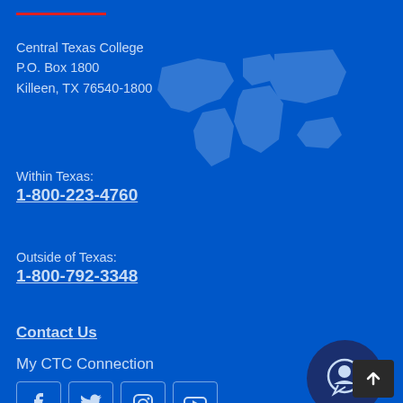Central Texas College
P.O. Box 1800
Killeen, TX 76540-1800
Within Texas:
1-800-223-4760
Outside of Texas:
1-800-792-3348
Contact Us
My CTC Connection
[Figure (illustration): Social media icons: Facebook, Twitter, Instagram, YouTube]
[Figure (illustration): Chat button circle icon with speech bubble]
[Figure (illustration): Scroll to top button with up arrow]